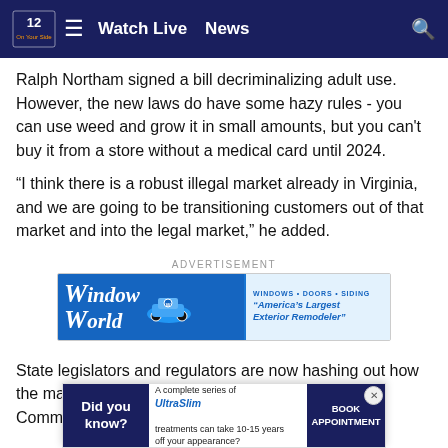NBC12 | Watch Live | News
Ralph Northam signed a bill decriminalizing adult use. However, the new laws do have some hazy rules - you can use weed and grow it in small amounts, but you can't buy it from a store without a medical card until 2024.
“I think there is a robust illegal market already in Virginia, and we are going to be transitioning customers out of that market and into the legal market,” he added.
ADVERTISEMENT
[Figure (illustration): Window World advertisement banner - blue background with Window World logo in cursive, a blue car with a mascot, and text 'WINDOWS • DOORS • SIDING' and '"America's Largest Exterior Remodeler"']
State legislators and regulators are now hashing out how the ma... Comm... ing
[Figure (illustration): UltraSlim popup ad - 'Did you know?' on dark blue left panel, 'A complete series of UltraSlim treatments can take 10-15 years off your appearance?' in middle, 'BOOK APPOINTMENT' button on right dark blue panel]